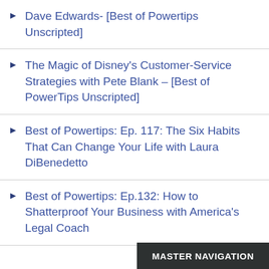Dave Edwards- [Best of Powertips Unscripted]
The Magic of Disney's Customer-Service Strategies with Pete Blank – [Best of PowerTips Unscripted]
Best of Powertips: Ep. 117: The Six Habits That Can Change Your Life with Laura DiBenedetto
Best of Powertips: Ep.132: How to Shatterproof Your Business with America's Legal Coach
MASTER NAVIGATION